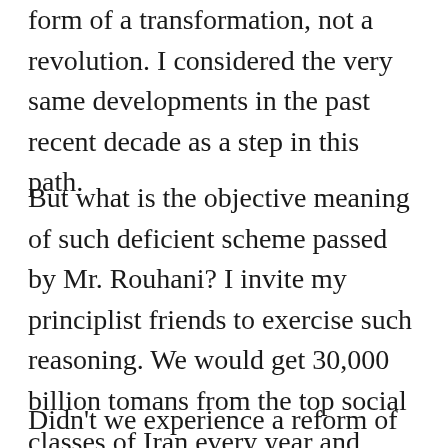form of a transformation, not a revolution. I considered the very same developments in the past recent decade as a step in this path.
But what is the objective meaning of such deficient scheme passed by Mr. Rouhani? I invite my principlist friends to exercise such reasoning. We would get 30,000 billion tomans from the top social classes of Iran every year and inject it into the poorest classes of the society. This would increase the Gini Coefficient in Iran overnight. So why shouldn't we do that?
Didn't we experience a reform of fuel price during Mr. Khatami's term? Didn't we have fuel